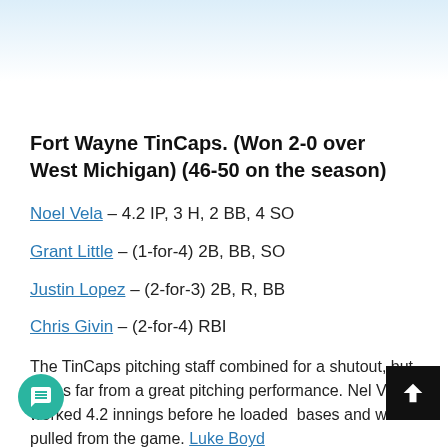Fort Wayne TinCaps. (Won 2-0 over West Michigan) (46-50 on the season)
Noel Vela – 4.2 IP, 3 H, 2 BB, 4 SO
Grant Little – (1-for-4) 2B, BB, SO
Justin Lopez – (2-for-3) 2B, R, BB
Chris Givin – (2-for-4) RBI
The TinCaps pitching staff combined for a shutout, but it was far from a great pitching performance. Noel Vela worked 4.2 innings before he loaded the bases and was pulled from the game. Luke Boyd